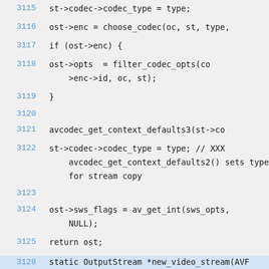3115    st->codec->codec_type = type;
3116    ost->enc = choose_codec(oc, st, type,
3117    if (ost->enc) {
3118        ost->opts  = filter_codec_opts(co >enc->id, oc, st);
3119    }
3120
3121    avcodec_get_context_defaults3(st->co
3122    st->codec->codec_type = type; // XXX avcodec_get_context_defaults2() sets type for stream copy
3123
3124    ost->sws_flags = av_get_int(sws_opts, NULL);
3125    return ost;
3126 }
3127
3128    static OutputStream *new_video_stream(AVF